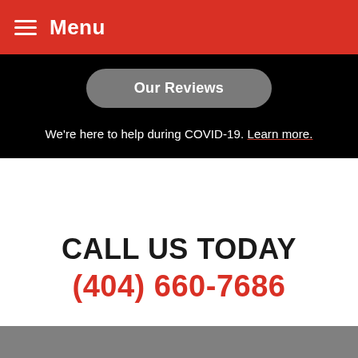Menu
Our Reviews
We're here to help during COVID-19. Learn more.
CALL US TODAY
(404) 660-7686
ABOUT US